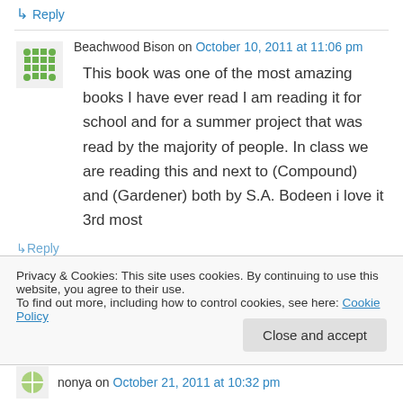↳ Reply
Beachwood Bison on October 10, 2011 at 11:06 pm
This book was one of the most amazing books I have ever read I am reading it for school and for a summer project that was read by the majority of people. In class we are reading this and next to (Compound) and (Gardener) both by S.A. Bodeen i love it 3rd most
↳ Reply
Privacy & Cookies: This site uses cookies. By continuing to use this website, you agree to their use.
To find out more, including how to control cookies, see here: Cookie Policy
Close and accept
nonya on October 21, 2011 at 10:32 pm